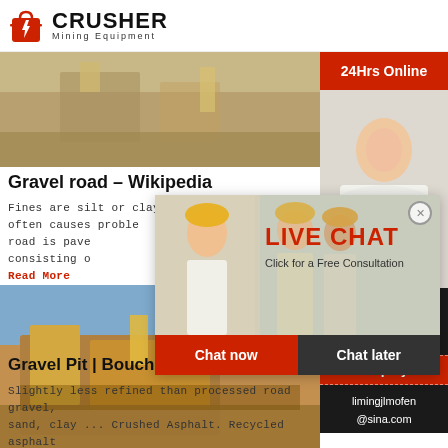CRUSHER Mining Equipment
[Figure (photo): Mining equipment photo, warm tones, industrial setting]
Gravel road - Wikipedia
Fines are silt or clay ... This often causes proble road is pave consisting o Read More
[Figure (photo): Gravel pit with large yellow crushing/screening equipment]
Gravel Pit | Bouchey & Sons Inc -
Slightly less refined than processed road gravel, sand, clay ... Crushed Asphalt. Recycled asphalt material has no stones in it. Uses: Beaches ...
[Figure (photo): Live Chat popup with workers in hard hats and a customer service agent with headset. Buttons: Chat now, Chat later.]
[Figure (photo): Sidebar: 24Hrs Online banner, customer service agent with headset, Need questions & suggestion? Chat Now button, Enquiry, limingjlmofen@sina.com]